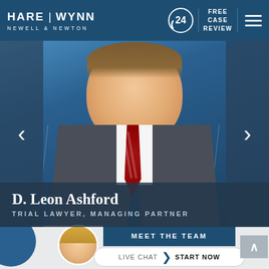HARE | WYNN NEWELL & NEWTON — Free Case Review
[Figure (photo): Professional headshot of D. Leon Ashford wearing a pinstripe suit and red tie, smiling, on a blue background. Carousel navigation arrows on left and right sides.]
D. Leon Ashford
TRIAL LAWYER, MANAGING PARTNER
MEET THE TEAM
LIVE CHAT  START NOW